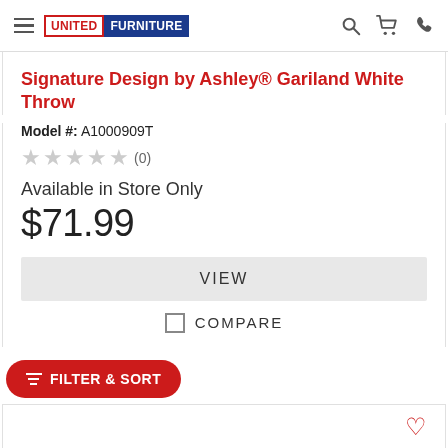United Furniture
Signature Design by Ashley® Gariland White Throw
Model #: A1000909T
★★★★★ (0)
Available in Store Only
$71.99
VIEW
COMPARE
FILTER & SORT